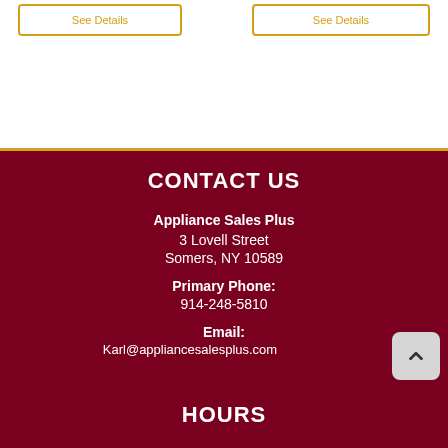See Details
See Details
CONTACT US
Appliance Sales Plus
3 Lovell Street
Somers, NY 10589
Primary Phone:
914-248-5810
Email:
Karl@appliancesalesplus.com
HOURS